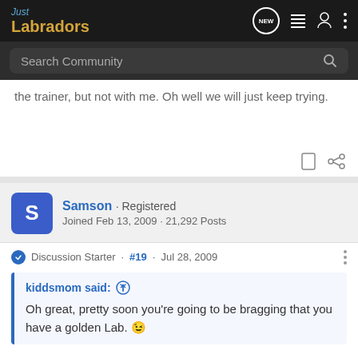Just Labradors
Search Community
the trainer, but not with me. Oh well we will just keep trying.
Samson · Registered
Joined Feb 13, 2009 · 21,292 Posts
Discussion Starter · #19 · Jul 28, 2009
kiddsmom said: ↑
Oh great, pretty soon you're going to be bragging that you have a golden Lab. 😉